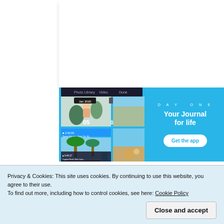[Figure (screenshot): White card area at top, partially visible document or webpage content]
[Figure (screenshot): Day One app promotional banner with phone screenshot mockup on a blue background, showing 'Your Journal for life' slogan and 'Get the app' button]
Privacy & Cookies: This site uses cookies. By continuing to use this website, you agree to their use.
To find out more, including how to control cookies, see here: Cookie Policy
Close and accept